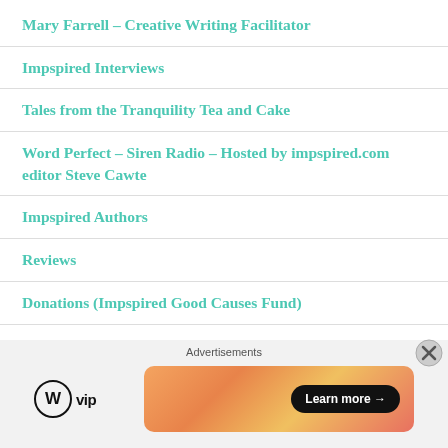Mary Farrell – Creative Writing Facilitator
Impspired Interviews
Tales from the Tranquility Tea and Cake
Word Perfect – Siren Radio – Hosted by impspired.com editor Steve Cawte
Impspired Authors
Reviews
Donations (Impspired Good Causes Fund)
CONNECTION DEGREE THREE
SPIN DOCTOR
[Figure (other): Advertisement banner with WordPress VIP logo and a gradient banner with 'Learn more' button]